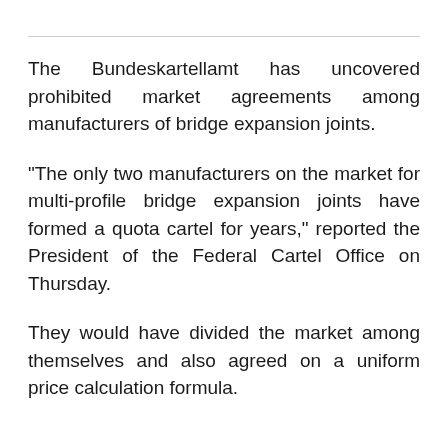The Bundeskartellamt has uncovered prohibited market agreements among manufacturers of bridge expansion joints.
"The only two manufacturers on the market for multi-profile bridge expansion joints have formed a quota cartel for years," reported the President of the Federal Cartel Office on Thursday.
They would have divided the market among themselves and also agreed on a uniform price calculation formula.